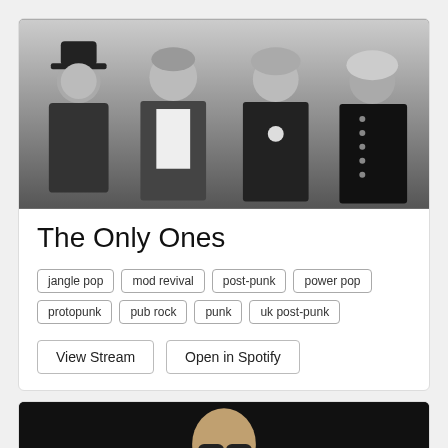[Figure (photo): Black and white band photo of The Only Ones - four members standing together, one wearing a wide-brim hat, others in dark jackets]
The Only Ones
jangle pop
mod revival
post-punk
power pop
protopunk
pub rock
punk
uk post-punk
View Stream
Open in Spotify
[Figure (photo): Black and white photo of a bald man wearing sunglasses and a patterned scarf or shirt, against a dark background]